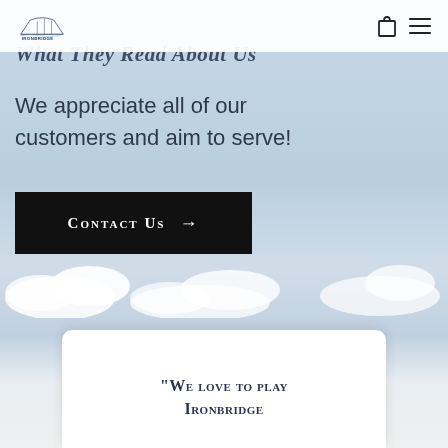Ironbridge logo and navigation icons
What They Read About Us
We appreciate all of our customers and aim to serve!
Contact Us →
"We love to play Ironbridge